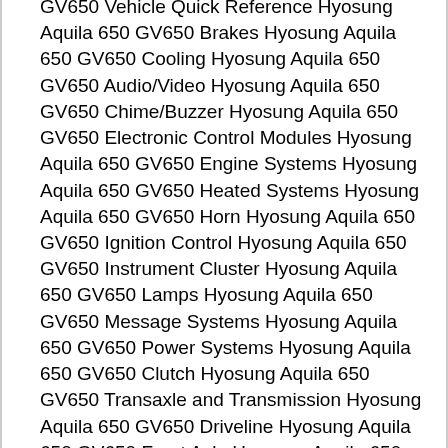GV650 Vehicle Quick Reference Hyosung Aquila 650 GV650 Brakes Hyosung Aquila 650 GV650 Cooling Hyosung Aquila 650 GV650 Audio/Video Hyosung Aquila 650 GV650 Chime/Buzzer Hyosung Aquila 650 GV650 Electronic Control Modules Hyosung Aquila 650 GV650 Engine Systems Hyosung Aquila 650 GV650 Heated Systems Hyosung Aquila 650 GV650 Horn Hyosung Aquila 650 GV650 Ignition Control Hyosung Aquila 650 GV650 Instrument Cluster Hyosung Aquila 650 GV650 Lamps Hyosung Aquila 650 GV650 Message Systems Hyosung Aquila 650 GV650 Power Systems Hyosung Aquila 650 GV650 Clutch Hyosung Aquila 650 GV650 Transaxle and Transmission Hyosung Aquila 650 GV650 Driveline Hyosung Aquila 650 GV650 Front Axle Hyosung Aquila 650 GV650 Rear Axle Hyosung Aquila 650 GV650 Front Suspension Hyosung Aquila 650 GV650 Rear Suspension Hyosung Aquila 650 GV650 Road Wheels and Tires Hyosung Aquila 650